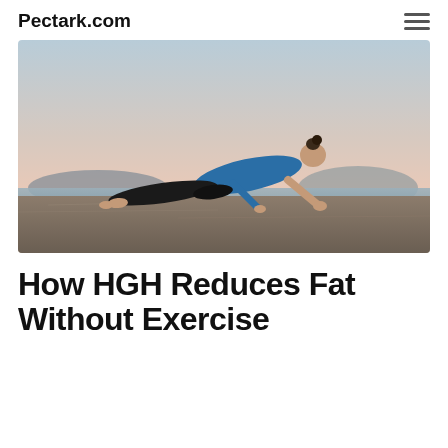Pectark.com
[Figure (photo): A woman in a blue top and black leggings doing a plank/push-up position on a sandy beach at dusk, with calm water and mountains visible in the background.]
How HGH Reduces Fat Without Exercise